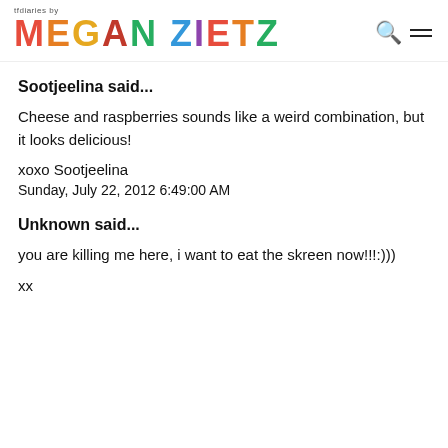tfdiaries by MEGAN ZIETZ
Sootjeelina said...
Cheese and raspberries sounds like a weird combination, but it looks delicious!
xoxo Sootjeelina
Sunday, July 22, 2012 6:49:00 AM
Unknown said...
you are killing me here, i want to eat the skreen now!!!:)))
xx